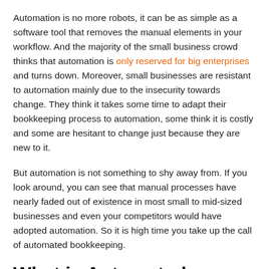Automation is no more robots, it can be as simple as a software tool that removes the manual elements in your workflow. And the majority of the small business crowd thinks that automation is only reserved for big enterprises and turns down. Moreover, small businesses are resistant to automation mainly due to the insecurity towards change. They think it takes some time to adapt their bookkeeping process to automation, some think it is costly and some are hesitant to change just because they are new to it.
But automation is not something to shy away from. If you look around, you can see that manual processes have nearly faded out of existence in most small to mid-sized businesses and even your competitors would have adopted automation. So it is high time you take up the call of automated bookkeeping.
What is Automated Bookkeeping?